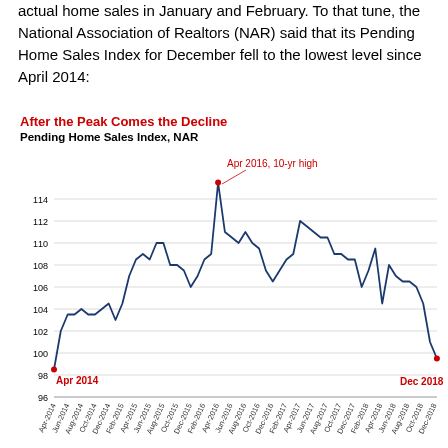actual home sales in January and February. To that tune, the National Association of Realtors (NAR) said that its Pending Home Sales Index for December fell to the lowest level since April 2014:
[Figure (line-chart): After the Peak Comes the Decline — Pending Home Sales Index, NAR]